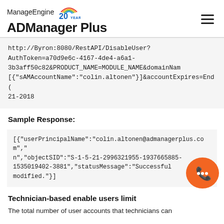ManageEngine 20 YEARS ADManager Plus
http://Byron:8080/RestAPI/DisableUser?AuthToken=a70d9e6c-4167-4de4-a6a1-3b3aff50c82&PRODUCT_NAME=MODULE_NAME&domainName[{"sAMAccountName":"colin.altonen"}]&accountExpires=End0 21-2018
Sample Response:
[{"userPrincipalName":"colin.altonen@admanagerplus.com","n","objectSID":"S-1-5-21-2996321955-1937665885-1535019402-3881","statusMessage":"Successful modified."}]
Technician-based enable users limit
The total number of user accounts that technicians can